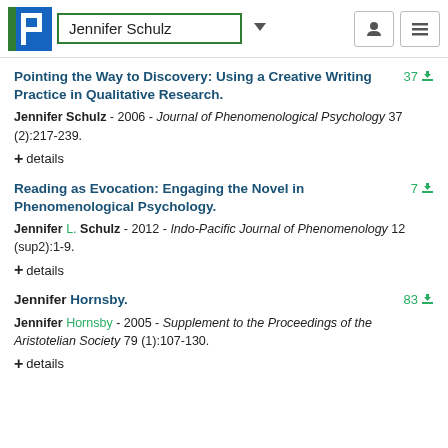Jennifer Schulz
Pointing the Way to Discovery: Using a Creative Writing Practice in Qualitative Research.
Jennifer Schulz - 2006 - Journal of Phenomenological Psychology 37 (2):217-239.
+ details
Reading as Evocation: Engaging the Novel in Phenomenological Psychology.
Jennifer L. Schulz - 2012 - Indo-Pacific Journal of Phenomenology 12 (sup2):1-9.
+ details
Jennifer Hornsby.
Jennifer Hornsby - 2005 - Supplement to the Proceedings of the Aristotelian Society 79 (1):107-130.
+ details